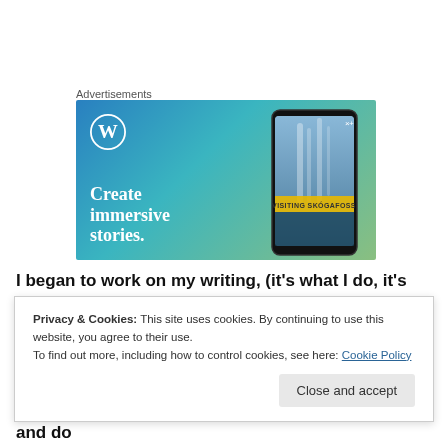Advertisements
[Figure (illustration): WordPress advertisement banner with blue-green gradient background, WordPress logo, text 'Create immersive stories.' on the left, and a phone mockup showing a waterfall (Skógafoss) with a 'VISITING SKÓGAFOSS' yellow label overlay on the right.]
I began to work on my writing, (it's what I do, it's who I am,
Privacy & Cookies: This site uses cookies. By continuing to use this website, you agree to their use.
To find out more, including how to control cookies, see here: Cookie Policy
Close and accept
I had become living proof that you can get where, and do